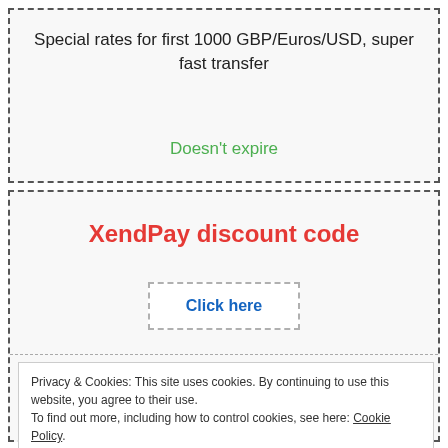Special rates for first 1000 GBP/Euros/USD, super fast transfer
Doesn't expire
XendPay discount code
Click here
Privacy & Cookies: This site uses cookies. By continuing to use this website, you agree to their use.
To find out more, including how to control cookies, see here: Cookie Policy
Close and accept